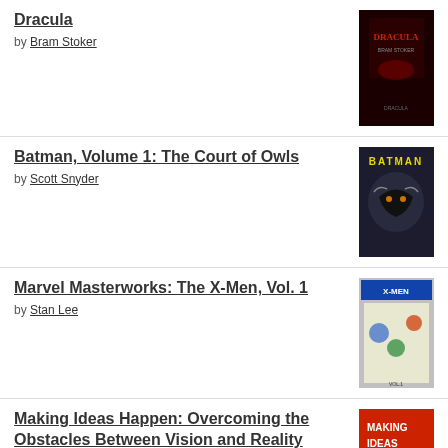Dracula by Bram Stoker
Batman, Volume 1: The Court of Owls by Scott Snyder
Marvel Masterworks: The X-Men, Vol. 1 by Stan Lee
Making Ideas Happen: Overcoming the Obstacles Between Vision and Reality by Scott Belsky
[Figure (logo): Goodreads widget button with rounded rectangle border]
[Figure (illustration): Follow Abandoned Places WordPress follow button in cyan/blue]